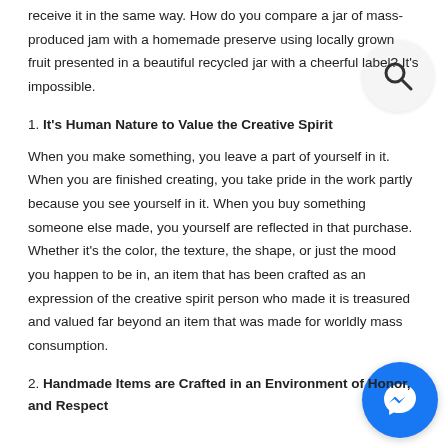receive it in the same way. How do you compare a jar of mass-produced jam with a homemade preserve using locally grown fruit presented in a beautiful recycled jar with a cheerful label? It's impossible.
1. It's Human Nature to Value the Creative Spirit
When you make something, you leave a part of yourself in it. When you are finished creating, you take pride in the work partly because you see yourself in it. When you buy something someone else made, you yourself are reflected in that purchase. Whether it's the color, the texture, the shape, or just the mood you happen to be in, an item that has been crafted as an expression of the creative spirit person who made it is treasured and valued far beyond an item that was made for worldly mass consumption.
2. Handmade Items are Crafted in an Environment of Honor, and Respect
[Figure (illustration): Search icon: a magnifying glass symbol inside a light gray circle, positioned at the top right of the page.]
[Figure (illustration): Facebook Messenger icon: a white lightning bolt/chat bubble symbol inside a blue circle, positioned at the bottom right of the page.]